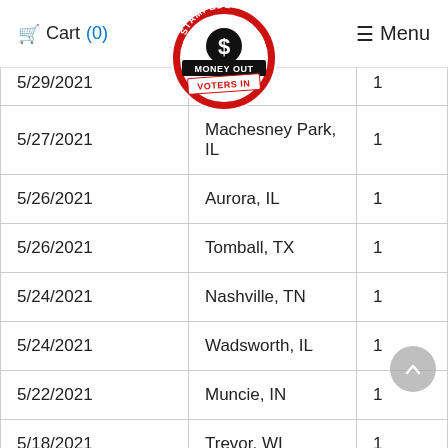Cart (0)   [The Stampede – Money Out Voters In logo]   Menu
| Date | Location | Qty |
| --- | --- | --- |
| 5/29/2021 | Knim… | 1 |
| 5/27/2021 | Machesney Park, IL | 1 |
| 5/26/2021 | Aurora, IL | 1 |
| 5/26/2021 | Tomball, TX | 1 |
| 5/24/2021 | Nashville, TN | 1 |
| 5/24/2021 | Wadsworth, IL | 1 |
| 5/22/2021 | Muncie, IN | 1 |
| 5/18/2021 | Trevor, WI | 1 |
| … | … |  |